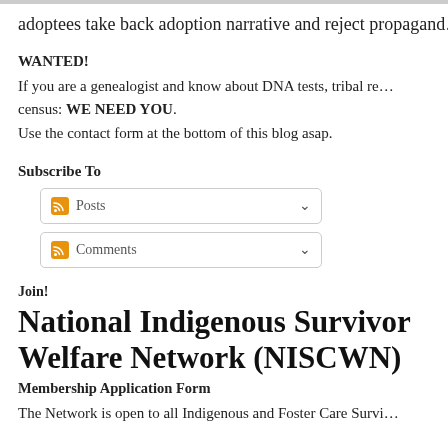adoptees take back adoption narrative and reject propagand…
WANTED!
If you are a genealogist and know about DNA tests, tribal rec… census: WE NEED YOU.
Use the contact form at the bottom of this blog asap.
Subscribe To
Posts
Comments
Join!
National Indigenous Survivor Welfare Network (NISCWN)
Membership Application Form
The Network is open to all Indigenous and Foster Care Survi…